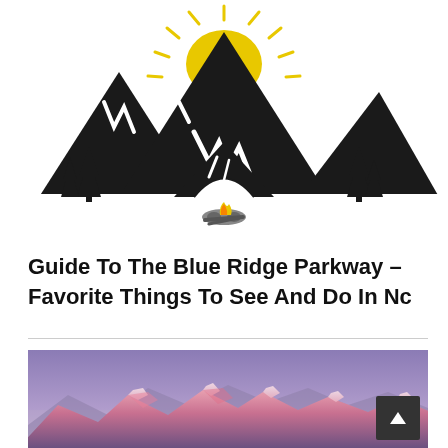[Figure (logo): Camping/outdoor illustration logo: mountains with a yellow sun rising behind them, pine trees, a tent in the foreground, and a small campfire at the base. Black and white line art style with yellow sun accent.]
Guide To The Blue Ridge Parkway – Favorite Things To See And Do In Nc
[Figure (photo): Photograph of mountain peaks with pink/purple alpenglow at dusk or dawn, snow-capped ridgeline against a hazy purple-blue sky.]